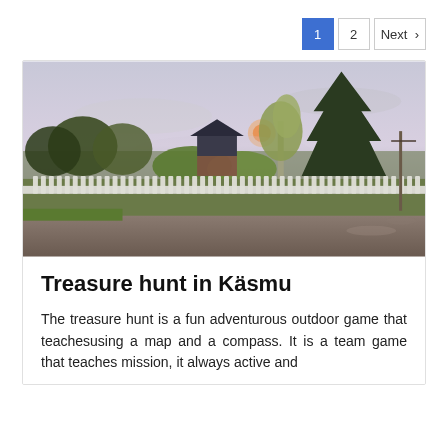1  2  Next >
[Figure (photo): Outdoor evening landscape photo showing trees, a white picket fence, a house with dark roof, and a setting sun/moon in a hazy sky. Village scene in Käsmu, Estonia.]
Treasure hunt in Käsmu
The treasure hunt is a fun adventurous outdoor game that teachesusing a map and a compass. It is a team game that teaches mission, it always active and